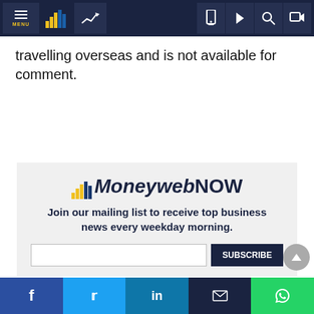MENU | [bar chart icon] | [trend icon] | [mobile icon] | [play icon] | [search icon] | [login icon]
travelling overseas and is not available for comment.
[Figure (logo): MoneywebNOW logo with bar chart icon]
Join our mailing list to receive top business news every weekday morning.
Facebook | Twitter | LinkedIn | Email | WhatsApp